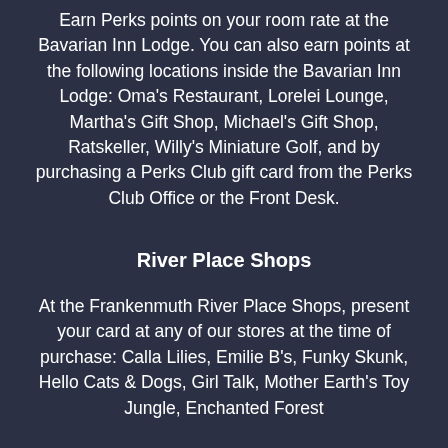Earn Perks points on your room rate at the Bavarian Inn Lodge. You can also earn points at the following locations inside the Bavarian Inn Lodge: Oma's Restaurant, Lorelei Lounge, Martha's Gift Shop, Michael's Gift Shop, Ratskeller, Willy's Miniature Golf, and by purchasing a Perks Club gift card from the Perks Club Office or the Front Desk.
River Place Shops
At the Frankenmuth River Place Shops, present your card at any of our stores at the time of purchase: Calla Lilies, Emilie B's, Funky Skunk, Hello Cats & Dogs, Girl Talk, Mother Earth's Toy Jungle, Enchanted Forest